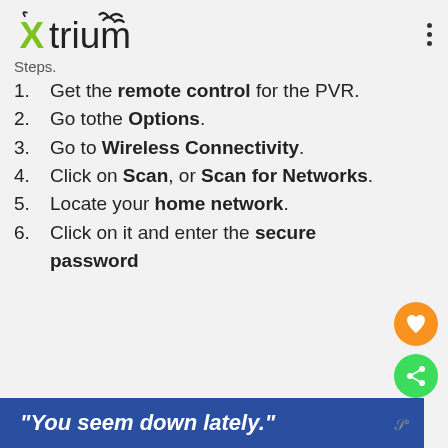Xtrium (logo)
Steps.
Get the remote control for the PVR.
Go tothe Options.
Go to Wireless Connectivity.
Click on Scan, or Scan for Networks.
Locate your home network.
Click on it and enter the secure password.
"You seem down lately."